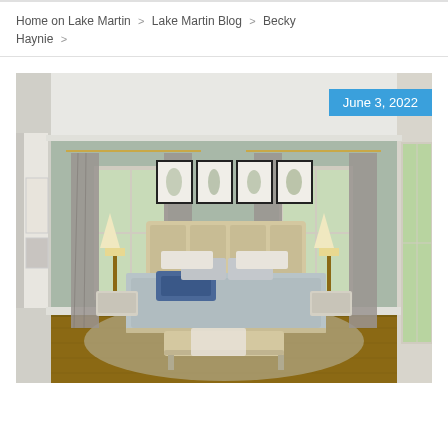Home on Lake Martin > Lake Martin Blog > Becky Haynie >
[Figure (photo): Elegant bedroom with sage green walls, upholstered beige headboard, blue and grey bedding, four framed botanical prints above the bed, symmetrical lamps on nightstands, grey curtains, hardwood floors, and a bench at the foot of the bed. Date badge reads June 3, 2022.]